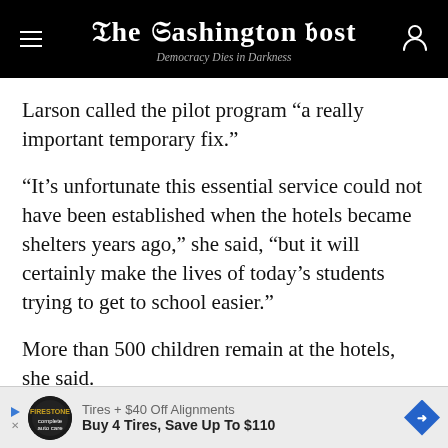The Washington Post — Democracy Dies in Darkness
Larson called the pilot program “a really important temporary fix.”
“It’s unfortunate this essential service could not have been established when the hotels became shelters years ago,” she said, “but it will certainly make the lives of today’s students trying to get to school easier.”
More than 500 children remain at the hotels, she said.
The D.C. Education Coalition for Change, which is made up of teachers, parents, students and community
[Figure (other): Advertisement banner: Tires + $40 Off Alignments. Buy 4 Tires, Save Up To $110. Firestone Auto logo on left, blue diamond arrow on right.]